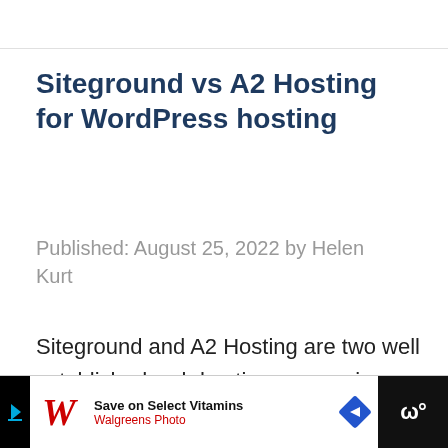Siteground vs A2 Hosting for WordPress hosting
Published: August 25, 2022 by Helen Kurt
Siteground and A2 Hosting are two well established web hosting companies that
[Figure (other): Walgreens advertisement banner: Save on Select Vitamins, Walgreens Photo, with Walgreens logo and navigation arrow icon]